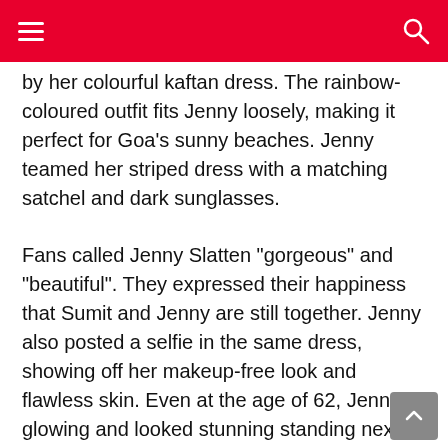by her colourful kaftan dress. The rainbow-coloured outfit fits Jenny loosely, making it perfect for Goa’s sunny beaches. Jenny teamed her striped dress with a matching satchel and dark sunglasses.
Fans called Jenny Slatten “gorgeous” and “beautiful”. They expressed their happiness that Sumit and Jenny are still together. Jenny also posted a selfie in the same dress, showing off her makeup-free look and flawless skin. Even at the age of 62, Jenny is glowing and looked stunning standing next to Sumit in the photo.